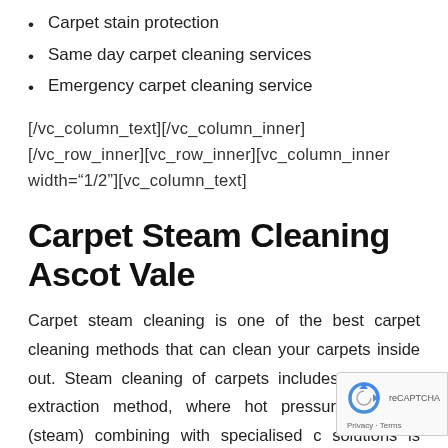Carpet stain protection
Same day carpet cleaning services
Emergency carpet cleaning service
[/vc_column_text][/vc_column_inner][/vc_row_inner][vc_row_inner][vc_column_inner width="1/2"][vc_column_text]
Carpet Steam Cleaning Ascot Vale
Carpet steam cleaning is one of the best carpet cleaning methods that can clean your carpets inside out. Steam cleaning of carpets includes hot water extraction method, where hot pressurised water (steam) combining with specialised c solutions is injected inside the carpet. The steam is extracted using the heavy-duty